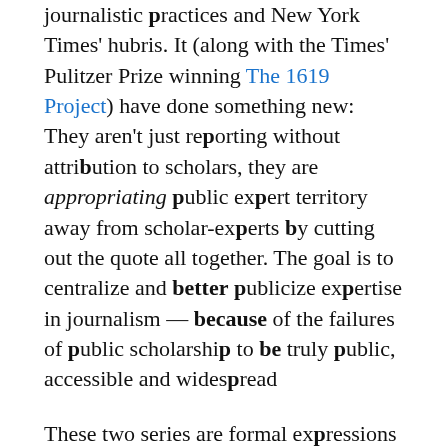journalistic practices and New York Times' hubris. It (along with the Times' Pulitzer Prize winning The 1619 Project) have done something new: They aren't just reporting without attribution to scholars, they are appropriating public expert territory away from scholar-experts by cutting out the quote all together. The goal is to centralize and better publicize expertise in journalism — because of the failures of public scholarship to be truly public, accessible and widespread

These two series are formal expressions of this appropriation campaign; other, more informal expressions happen on Twitter and Substack and